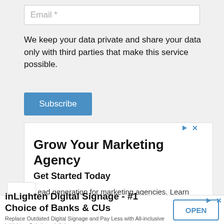[Figure (screenshot): Email input field with placeholder text 'Email *']
We keep your data private and share your data only with third parties that make this service possible.
[Figure (screenshot): Blue Subscribe button]
[Figure (screenshot): Advertisement box: 'Grow Your Marketing Agency - Get Started Today. Lead generation for marketing agencies. Learn more about email outreach from RevBoss.']
[Figure (screenshot): Advertisement banner: 'inLighten Digital Signage - #1 Choice of Banks & CUs. Replace Outdated Digital Signage and Pay Less with All-inclusive inLighten Solutions. inlighten.net'. With OPEN button.]